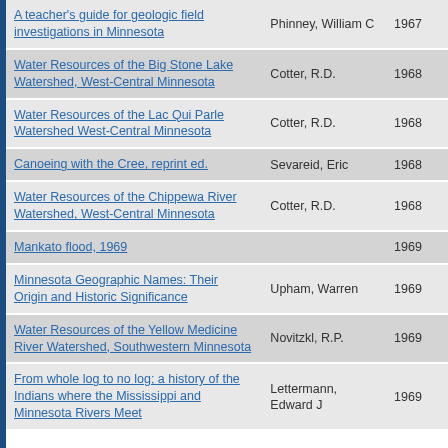| Title | Author | Year |
| --- | --- | --- |
| A teacher's guide for geologic field investigations in Minnesota | Phinney, William C | 1967 |
| Water Resources of the Big Stone Lake Watershed, West-Central Minnesota | Cotter, R.D. | 1968 |
| Water Resources of the Lac Qui Parle Watershed West-Central Minnesota | Cotter, R.D. | 1968 |
| Canoeing with the Cree, reprint ed. | Sevareid, Eric | 1968 |
| Water Resources of the Chippewa River Watershed, West-Central Minnesota | Cotter, R.D. | 1968 |
| Mankato flood, 1969 |  | 1969 |
| Minnesota Geographic Names: Their Origin and Historic Significance | Upham, Warren | 1969 |
| Water Resources of the Yellow Medicine River Watershed, Southwestern Minnesota | Novitzkl, R.P. | 1969 |
| From whole log to no log; a history of the Indians where the Mississippi and Minnesota Rivers Meet | Lettermann, Edward J | 1969 |